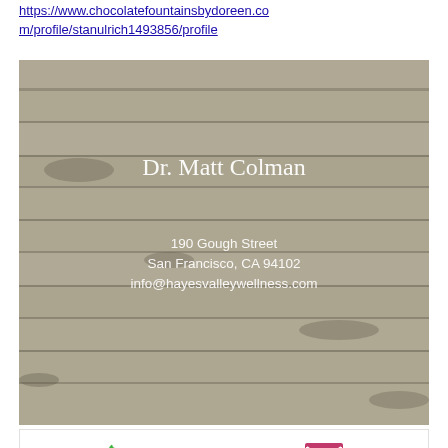https://www.chocolatefountainsbydoreen.com/profile/stanulrich1493856/profile
[Figure (illustration): Business card for Dr. Matt Colman on a wood plank background. Shows name 'Dr. Matt Colman', address '190 Gough Street, San Francisco, CA 94102', and email 'info@hayesvalleywellness.com'. Below the card is a white bar with a green phone icon and a pink/magenta envelope icon.]